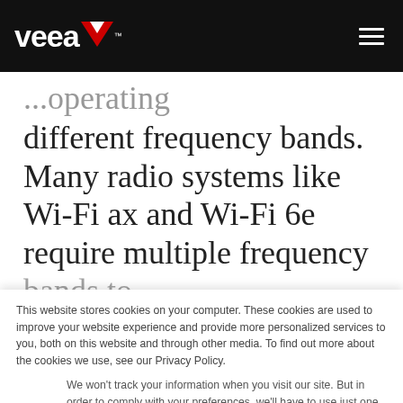veea™
different frequency bands. Many radio systems like Wi-Fi ax and Wi-Fi 6e require multiple frequency bands to...
This website stores cookies on your computer. These cookies are used to improve your website experience and provide more personalized services to you, both on this website and through other media. To find out more about the cookies we use, see our Privacy Policy.
We won't track your information when you visit our site. But in order to comply with your preferences, we'll have to use just one tiny cookie so that you're not asked to make this choice again.
Accept
Decline